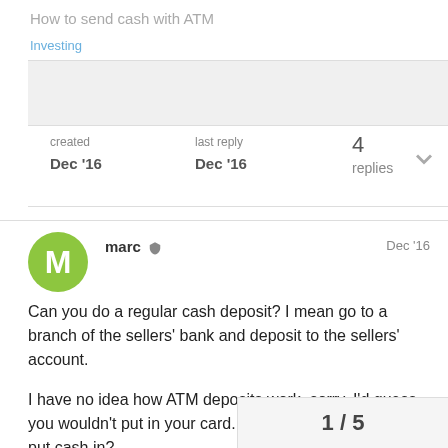How to send cash with ATM
Investing
created Dec '16   last reply Dec '16   4 replies
marc  Dec '16
Can you do a regular cash deposit? I mean go to a branch of the sellers' bank and deposit to the sellers' account.

I have no idea how ATM deposits work, sorry. I'd guess you wouldn't put in your card. Just enter sellers' info and put cash in?
1 / 5